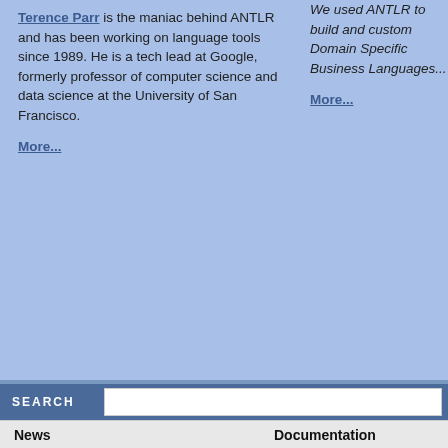Terence Parr is the maniac behind ANTLR and has been working on language tools since 1989. He is a tech lead at Google, formerly professor of computer science and data science at the University of San Francisco.
More...
We used ANTLR to build and custom Domain Specific Business Languages...
More...
SEARCH
News
Documentation